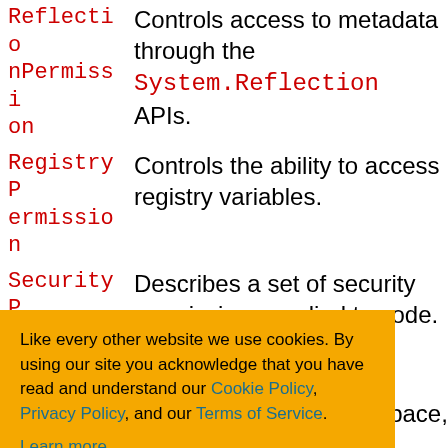| Term | Description |
| --- | --- |
| ReflectionPermission | Controls access to metadata through the System.Reflection APIs. |
| RegistryPermission | Controls the ability to access registry variables. |
| SecurityPermission | Describes a set of security permissions applied to code. |
in other
ermission and
namespace,
System.Data.SqlClient namespace,
[Figure (screenshot): Cookie consent banner overlay with orange background. Text: 'Like every other website we use cookies. By using our site you acknowledge that you have read and understand our Cookie Policy, Privacy Policy, and our Terms of Service. Learn more'. Buttons: 'Ask me later', 'Decline', 'Allow cookies'.]